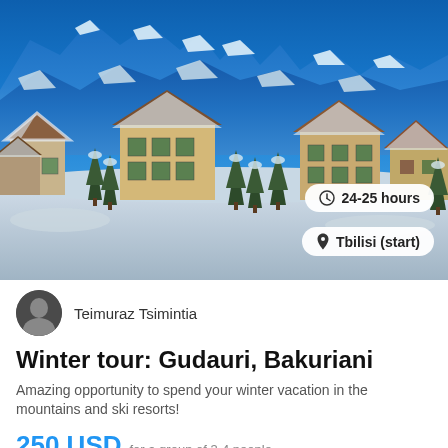[Figure (photo): Mountain ski resort with snow-covered chalets and blue mountain peaks in the background. Shows a winter alpine village with traditional wooden buildings dusted in snow, pine trees, and dramatic snowy mountains under a bright blue sky.]
24-25 hours
Tbilisi (start)
Teimuraz Tsimintia
Winter tour: Gudauri, Bakuriani
Amazing opportunity to spend your winter vacation in the mountains and ski resorts!
250 USD for a group of 3-4 people